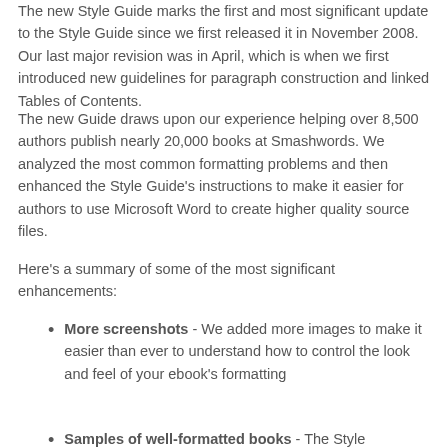The new Style Guide marks the first and most significant update to the Style Guide since we first released it in November 2008. Our last major revision was in April, which is when we first introduced new guidelines for paragraph construction and linked Tables of Contents.
The new Guide draws upon our experience helping over 8,500 authors publish nearly 20,000 books at Smashwords. We analyzed the most common formatting problems and then enhanced the Style Guide's instructions to make it easier for authors to use Microsoft Word to create higher quality source files.
Here's a summary of some of the most significant enhancements:
More screenshots - We added more images to make it easier than ever to understand how to control the look and feel of your ebook's formatting
Samples of well-formatted books - The Style...